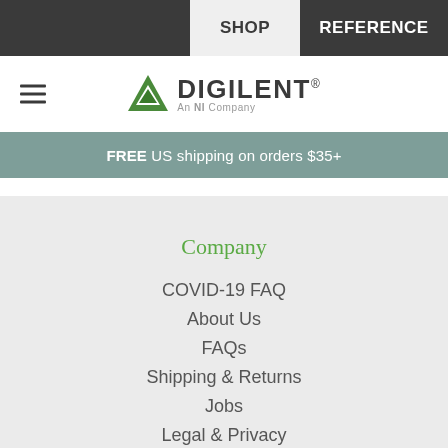SHOP | REFERENCE
[Figure (logo): Digilent logo - green triangle with DIGILENT text and 'An NI Company' subtitle]
FREE US shipping on orders $35+
Company
COVID-19 FAQ
About Us
FAQs
Shipping & Returns
Jobs
Legal & Privacy
News